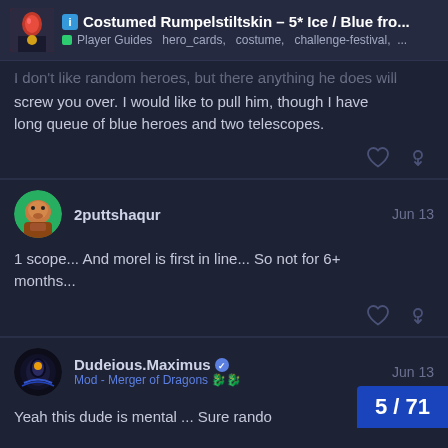Costumed Rumpelstiltskin – 5* Ice / Blue fro... | Player Guides  hero_cards, costume, challenge-festival, ...
I don't like random heroes, but there anything he does will screw you over. I would like to pull him, though I have long queue of blue heroes and two telescopes.
2puttshaqur  Jun 13
1 scope... And morel is first in line... So not for 6+ months...
Dudeious.Maximus  Mod - Merger of Dragons  Jun 13
Yeah this dude is mental ... Sure rando